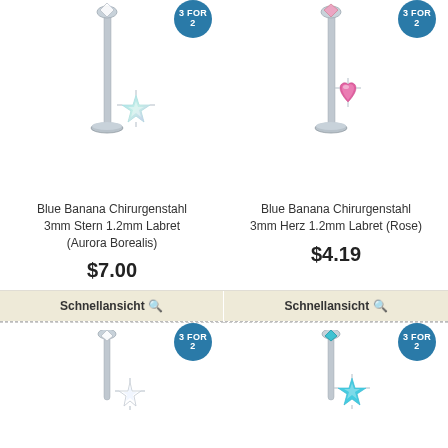[Figure (photo): Silver labret piercing with star Aurora Borealis crystal, 3mm, 1.2mm post with flat disc base. 3 FOR 2 badge in blue circle.]
[Figure (photo): Silver labret piercing with pink heart crystal, 3mm, 1.2mm post with flat disc base. 3 FOR 2 badge in blue circle.]
Blue Banana Chirurgenstahl 3mm Stern 1.2mm Labret (Aurora Borealis)
Blue Banana Chirurgenstahl 3mm Herz 1.2mm Labret (Rose)
$7.00
$4.19
Schnellansicht 🔍
Schnellansicht 🔍
[Figure (photo): Silver labret piercing with clear/white snowflake crystal. 3 FOR 2 badge in blue circle.]
[Figure (photo): Silver labret piercing with teal/cyan star crystal. 3 FOR 2 badge in blue circle.]